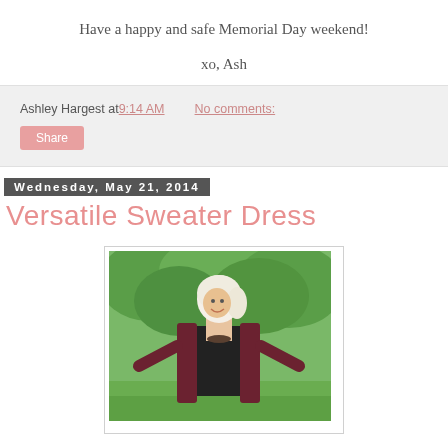Have a happy and safe Memorial Day weekend!
xo, Ash
Ashley Hargest at 9:14 AM   No comments:
Share
Wednesday, May 21, 2014
Versatile Sweater Dress
[Figure (photo): Blonde woman smiling outdoors, wearing a dark top and burgundy/dark red long cardigan, with green trees and grass in the background.]